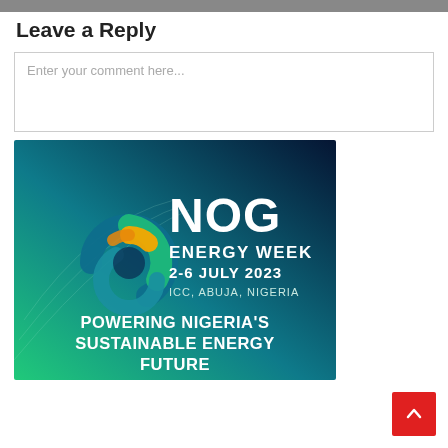Leave a Reply
Enter your comment here...
[Figure (illustration): NOG Energy Week promotional banner. Dark green to dark navy gradient background with swirling teal/blue/green/gold logo on left. Text reads: NOG ENERGY WEEK 2-6 JULY 2023 ICC, ABUJA, NIGERIA. Bottom text: POWERING NIGERIA'S SUSTAINABLE ENERGY FUTURE]